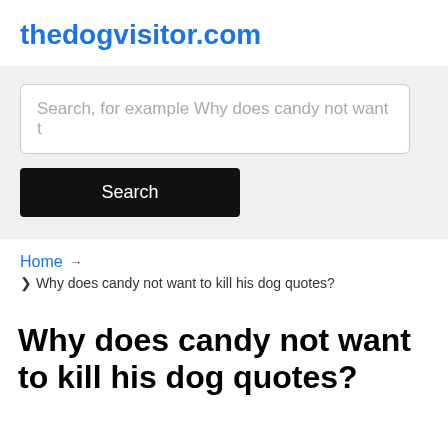thedogvisitor.com
Search, for example Why does candy not want t
Search
Home → ❯ Why does candy not want to kill his dog quotes?
Why does candy not want to kill his dog quotes?